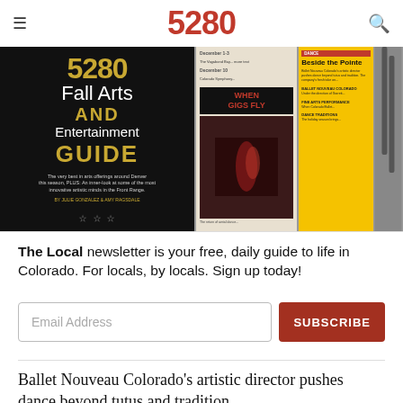5280
[Figure (photo): Magazine spread showing 5280 Fall Arts AND Entertainment GUIDE cover (black background, gold text), center spread with 'WHEN GIGS FLY' headline and dark photo, and right panel with 'Beside the Pointe' article on yellow background]
The Local newsletter is your free, daily guide to life in Colorado. For locals, by locals. Sign up today!
Email Address
SUBSCRIBE
Ballet Nouveau Colorado's artistic director pushes dance beyond tutus and tradition.